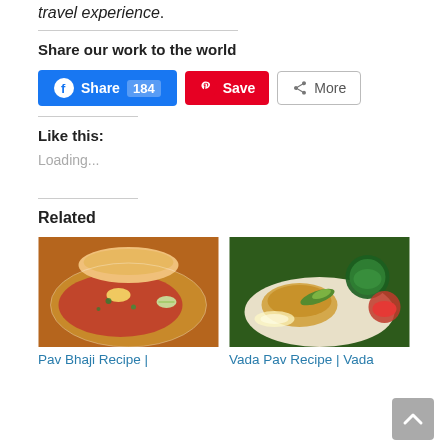travel experience.
Share our work to the world
[Figure (screenshot): Social sharing buttons: Facebook Share 184, Pinterest Save, More]
Like this:
Loading...
Related
[Figure (photo): Pav Bhaji dish photo]
Pav Bhaji Recipe |
[Figure (photo): Vada Pav dish photo]
Vada Pav Recipe | Vada